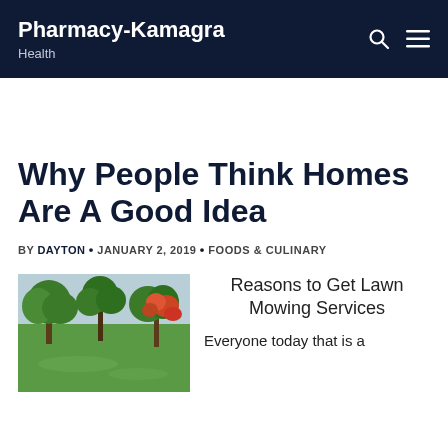Pharmacy-Kamagra
Health
Why People Think Homes Are A Good Idea
BY DAYTON • JANUARY 2, 2019 • FOODS & CULINARY
[Figure (photo): Green garden with trees including a flowering red/orange tree on the right and lush grass]
Reasons to Get Lawn Mowing Services

Everyone today that is a